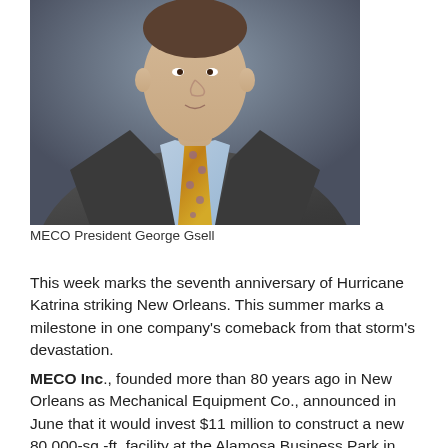[Figure (photo): Portrait photo of MECO President George Gsell, a man in a dark suit jacket with a light blue shirt and yellow patterned tie]
MECO President George Gsell
This week marks the seventh anniversary of Hurricane Katrina striking New Orleans. This summer marks a milestone in one company's comeback from that storm's devastation.
MECO Inc., founded more than 80 years ago in New Orleans as Mechanical Equipment Co., announced in June that it would invest $11 million to construct a new 80,000-sq.-ft. facility at the Alamosa Business Park in Mandeville, St. Tammany Parish, La., that would create 127 new direct jobs,